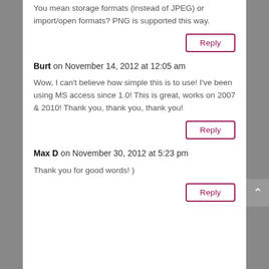You mean storage formats (instead of JPEG) or import/open formats? PNG is supported this way.
Reply
Burt on November 14, 2012 at 12:05 am
Wow, I can't believe how simple this is to use! I've been using MS access since 1.0! This is great, works on 2007 & 2010! Thank you, thank you, thank you!
Reply
Max D on November 30, 2012 at 5:23 pm
Thank you for good words! )
Reply